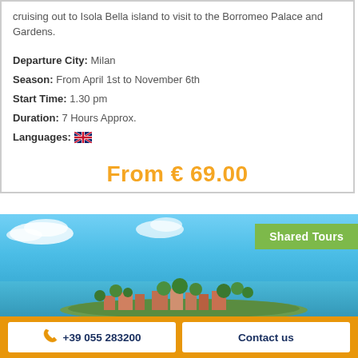cruising out to Isola Bella island to visit to the Borromeo Palace and Gardens.
Departure City: Milan
Season: From April 1st to November 6th
Start Time: 1.30 pm
Duration: 7 Hours Approx.
Languages: [UK flag]
From € 69.00
[Figure (photo): Aerial view of a small island with tropical trees and buildings on a blue lake/sea, blue sky with clouds in background. Badge overlay reads 'Shared Tours'.]
+39 055 283200  |  Contact us